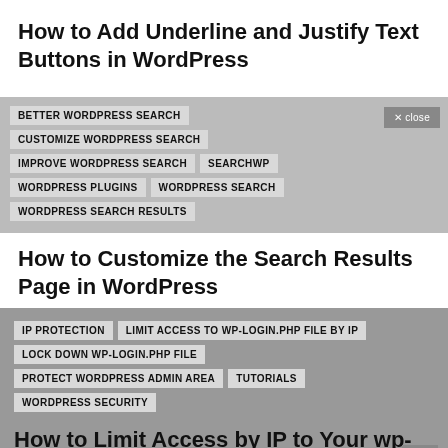How to Add Underline and Justify Text Buttons in WordPress
BETTER WORDPRESS SEARCH
CUSTOMIZE WORDPRESS SEARCH
IMPROVE WORDPRESS SEARCH
SEARCHWP
WORDPRESS PLUGINS
WORDPRESS SEARCH
WORDPRESS SEARCH RESULTS
How to Customize the Search Results Page in WordPress
IP PROTECTION
LIMIT ACCESS TO WP-LOGIN.PHP FILE BY IP
LOCK DOWN WP-LOGIN.PHP FILE
PROTECT WORDPRESS ADMIN AREA
TUTORIALS
WORDPRESS SECURITY
How to Limit Access by IP to Your wp-login.php file in WordPress